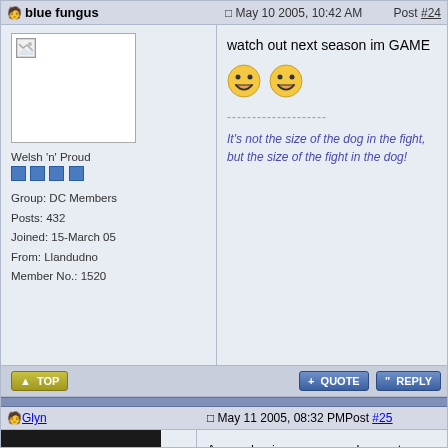blue fungus  |  May 10 2005, 10:42 AM  |  Post #24
watch out next season im GAME
Welsh 'n' Proud
Group: DC Members
Posts: 432
Joined: 15-March 05
From: Llandudno
Member No.: 1520
--------------------
It's not the size of the dog in the fight, but the size of the fight in the dog!
TOP  |  + QUOTE  |  " REPLY
Glyn  |  May 11 2005, 08:32 PM  |  Post #25
Are we having any new rules next season?

--------------------